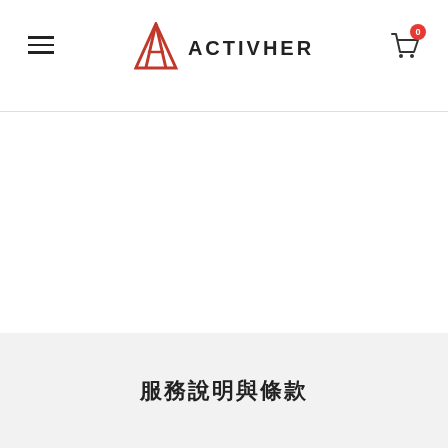[Figure (logo): ACTIVHER brand logo with red triangle/arrow icon and dark text, navigation header with hamburger menu on left and shopping cart with badge '0' on right]
服務說明與條款